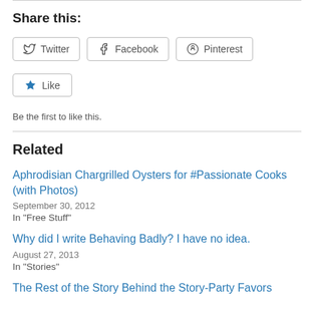Share this:
[Figure (other): Social sharing buttons: Twitter, Facebook, Pinterest]
[Figure (other): Like button with star icon]
Be the first to like this.
Related
Aphrodisian Chargrilled Oysters for #Passionate Cooks (with Photos)
September 30, 2012
In "Free Stuff"
Why did I write Behaving Badly? I have no idea.
August 27, 2013
In "Stories"
The Rest of the Story Behind the Story-Party Favors